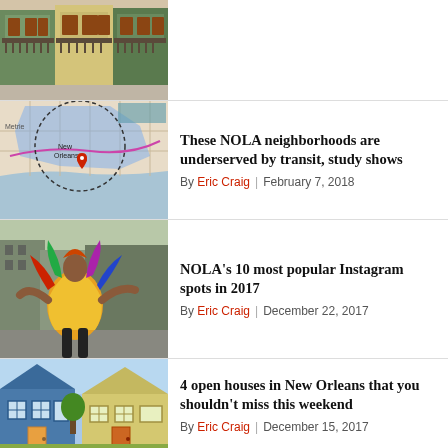[Figure (photo): Colorful New Orleans shotgun houses with decorative railings, partially visible (cropped top portion)]
[Figure (map): Map of New Orleans neighborhoods with transit coverage highlighted in blue and pink]
These NOLA neighborhoods are underserved by transit, study shows
By Eric Craig | February 7, 2018
[Figure (photo): Person in colorful Mardi Gras costume on a New Orleans street]
NOLA's 10 most popular Instagram spots in 2017
By Eric Craig | December 22, 2017
[Figure (photo): Blue and yellow New Orleans shotgun style houses on a sunny day]
4 open houses in New Orleans that you shouldn't miss this weekend
By Eric Craig | December 15, 2017